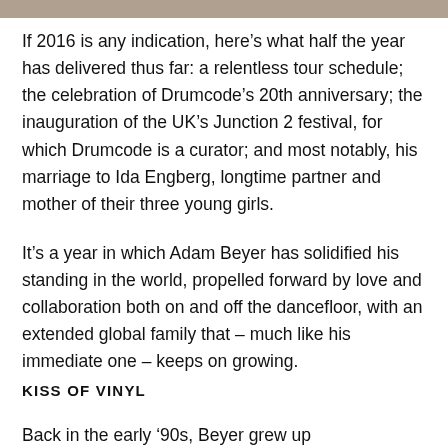[Figure (photo): Top image strip partially visible at top of page]
If 2016 is any indication, here’s what half the year has delivered thus far: a relentless tour schedule; the celebration of Drumcode’s 20th anniversary; the inauguration of the UK’s Junction 2 festival, for which Drumcode is a curator; and most notably, his marriage to Ida Engberg, longtime partner and mother of their three young girls.
It’s a year in which Adam Beyer has solidified his standing in the world, propelled forward by love and collaboration both on and off the dancefloor, with an extended global family that – much like his immediate one – keeps on growing.
KISS OF VINYL
Back in the early ‘90s, Beyer grew up...